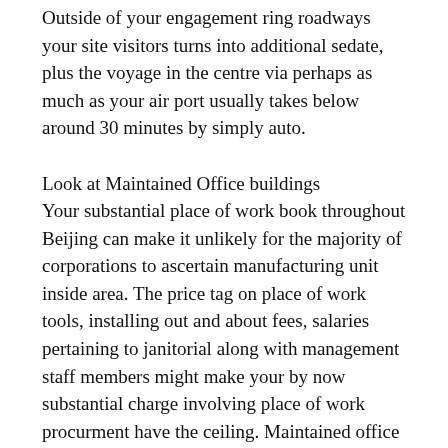Outside of your engagement ring roadways your site visitors turns into additional sedate, plus the voyage in the centre via perhaps as much as your air port usually takes below around 30 minutes by simply auto.
Look at Maintained Office buildings
Your substantial place of work book throughout Beijing can make it unlikely for the majority of corporations to ascertain manufacturing unit inside area. The price tag on place of work tools, installing out and about fees, salaries pertaining to janitorial along with management staff members might make your by now substantial charge involving place of work procurment have the ceiling. Maintained office buildings throughout Beijing, on the other hand, may possibly found a interesting selection.
There are several maintained office buildings